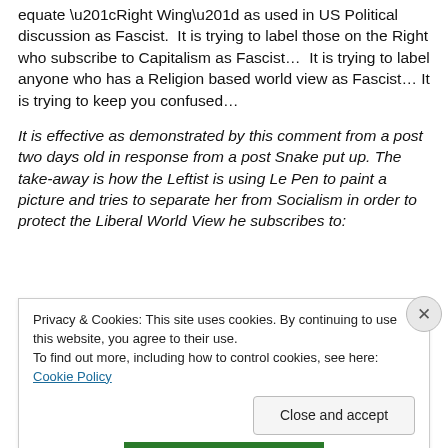equate “Right Wing” as used in US Political discussion as Fascist. It is trying to label those on the Right who subscribe to Capitalism as Fascist… It is trying to label anyone who has a Religion based world view as Fascist… It is trying to keep you confused…
It is effective as demonstrated by this comment from a post two days old in response from a post Snake put up. The take-away is how the Leftist is using Le Pen to paint a picture and tries to separate her from Socialism in order to protect the Liberal World View he subscribes to:
Privacy & Cookies: This site uses cookies. By continuing to use this website, you agree to their use.
To find out more, including how to control cookies, see here: Cookie Policy
Close and accept